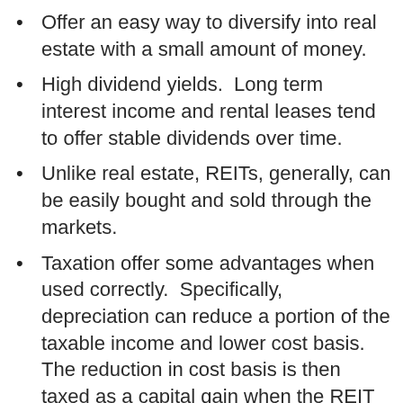Offer an easy way to diversify into real estate with a small amount of money.
High dividend yields.  Long term interest income and rental leases tend to offer stable dividends over time.
Unlike real estate, REITs, generally, can be easily bought and sold through the markets.
Taxation offer some advantages when used correctly.  Specifically, depreciation can reduce a portion of the taxable income and lower cost basis.  The reduction in cost basis is then taxed as a capital gain when the REIT is eventually sold.